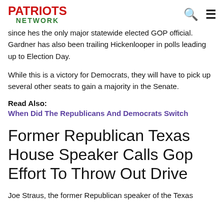PATRIOTS NETWORK
since hes the only major statewide elected GOP official. Gardner has also been trailing Hickenlooper in polls leading up to Election Day.
While this is a victory for Democrats, they will have to pick up several other seats to gain a majority in the Senate.
Read Also:
When Did The Republicans And Democrats Switch
Former Republican Texas House Speaker Calls Gop Effort To Throw Out Drive
Joe Straus, the former Republican speaker of the Texas